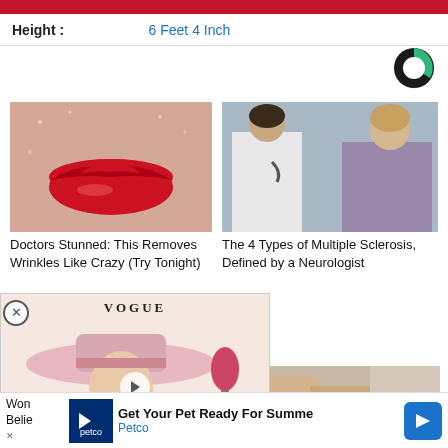Height : 6 Feet 4 Inch
[Figure (logo): Circular logo with black and green segments, white center cutout]
[Figure (photo): Close-up of lips with red lipstick on dry skin texture]
Doctors Stunned: This Removes Wrinkles Like Crazy (Try Tonight)
[Figure (photo): Doctor in white coat with stethoscope talking to patient]
The 4 Types of Multiple Sclerosis, Defined by a Neurologist
[Figure (photo): Vogue magazine cover showing woman with pink hat and flowers]
[Figure (photo): Person holding wrist, possibly showing pain or medical condition]
Won
Belie
Get Your Pet Ready For Summe
Petco